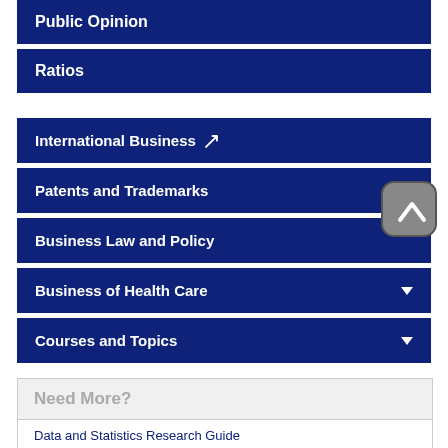Public Opinion
Ratios
International Business ↗
Patents and Trademarks
Business Law and Policy
Business of Health Care
Courses and Topics
Need More?
Data and Statistics Research Guide